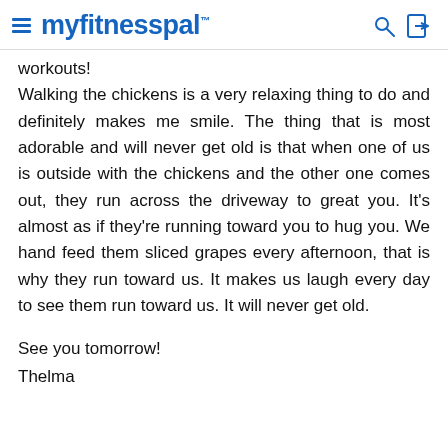myfitnesspal
workouts!
Walking the chickens is a very relaxing thing to do and definitely makes me smile. The thing that is most adorable and will never get old is that when one of us is outside with the chickens and the other one comes out, they run across the driveway to great you. It's almost as if they're running toward you to hug you. We hand feed them sliced grapes every afternoon, that is why they run toward us. It makes us laugh every day to see them run toward us. It will never get old.

See you tomorrow!
Thelma